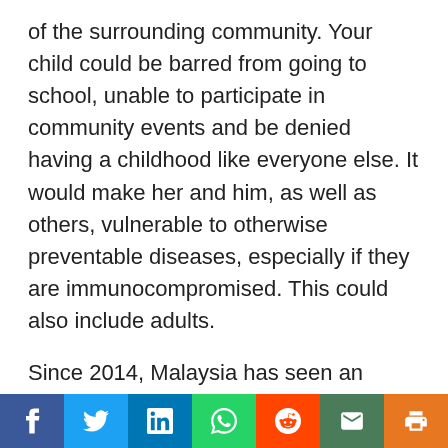of the surrounding community. Your child could be barred from going to school, unable to participate in community events and be denied having a childhood like everyone else. It would make her and him, as well as others, vulnerable to otherwise preventable diseases, especially if they are immunocompromised. This could also include adults.
Since 2014, Malaysia has seen an increase in the number of measles, whooping cough and tetanus cases. From 2016 to 2018 we saw the re-emergence of diphtheria with 80 cases which caused 16 deaths. We had 892 cases of
Social share bar with Facebook, Twitter, LinkedIn, WhatsApp, Reddit, Email, Print buttons